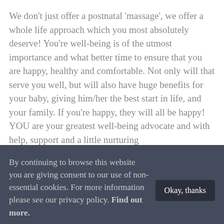We don't just offer a postnatal 'massage', we offer a whole life approach which you most absolutely deserve! You're well-being is of the utmost importance and what better time to ensure that you are happy, healthy and comfortable. Not only will that serve you well, but will also have huge benefits for your baby, giving him/her the best start in life, and your family. If you're happy, they will all be happy! YOU are your greatest well-being advocate and with help, support and a little nurturing
By continuing to browse this website you are giving consent to our use of non-essential cookies. For more information please see our privacy policy. Find out more.